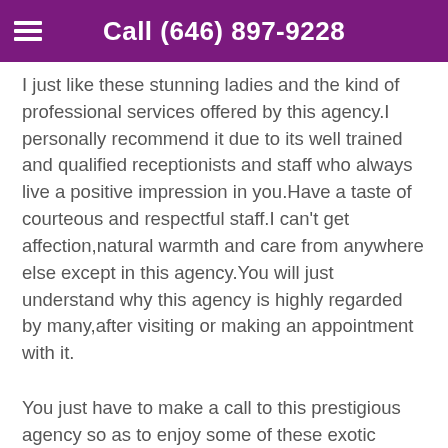Call (646) 897-9228
I just like these stunning ladies and the kind of professional services offered by this agency.I personally recommend it due to its well trained and qualified receptionists and staff who always live a positive impression in you.Have a taste of courteous and respectful staff.I can't get affection,natural warmth and care from anywhere else except in this agency.You will just understand why this agency is highly regarded by many,after visiting or making an appointment with it.
You just have to make a call to this prestigious agency so as to enjoy some of these exotic escort services.